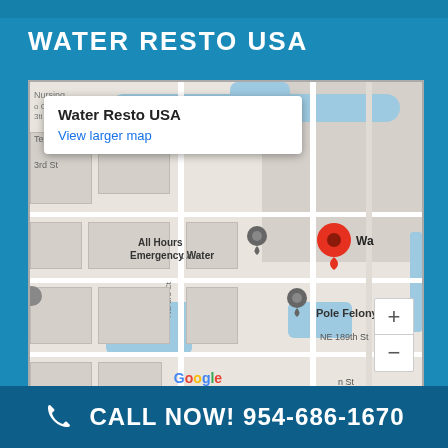WATER RESTO USA
[Figure (map): Google Maps screenshot showing the location of Water Resto USA with a red marker, nearby landmarks include All Hours Emergency Water, Pole Felony, NE 189th St, The Tic. Popup shows business name 'Water Resto USA' and 'View larger map' link. Map data ©2022.]
ADDRESS
700 NE 189TH ST, MIAMI, FL 33179
CALL NOW! 954-686-1670